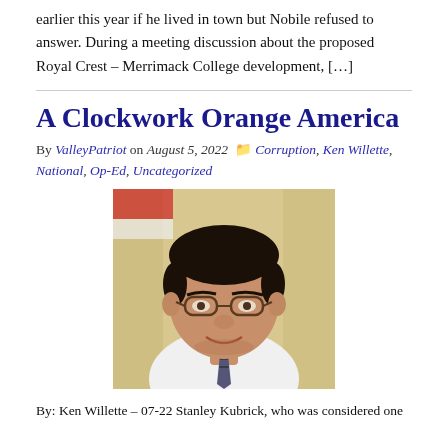earlier this year if he lived in town but Nobile refused to answer. During a meeting discussion about the proposed Royal Crest – Merrimack College development, […]
A Clockwork Orange America
By ValleyPatriot on August 5, 2022  Corruption, Ken Willette, National, Op-Ed, Uncategorized
[Figure (photo): Headshot photo of a man in a white dress shirt and patterned tie, wearing glasses, with a slight smile. Background appears to be a yellow curtain and partial red/white flag.]
By: Ken Willette – 07-22 Stanley Kubrick, who was considered one